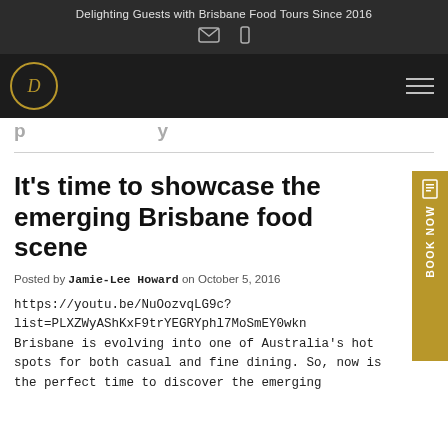Delighting Guests with Brisbane Food Tours Since 2016
[Figure (logo): Circular D logo in gold on dark nav bar with hamburger menu]
It’s time to showcase the emerging Brisbane food scene
Posted by Jamie-Lee Howard on October 5, 2016
https://youtu.be/NuOozvqLG9c?list=PLXZWyAShKxF9trYEGRYphl7MoSmEY0wkn Brisbane is evolving into one of Australia’s hot spots for both casual and fine dining. So, now is the perfect time to discover the emerging